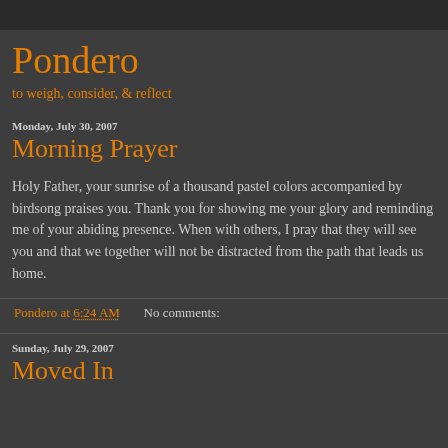Pondero
to weigh, consider, & reflect
Monday, July 30, 2007
Morning Prayer
Holy Father, your sunrise of a thousand pastel colors accompanied by birdsong praises you. Thank you for showing me your glory and reminding me of your abiding presence. When with others, I pray that they will see you and that we together will not be distracted from the path that leads us home.
Pondero at 6:24 AM   No comments:
Sunday, July 29, 2007
Moved In